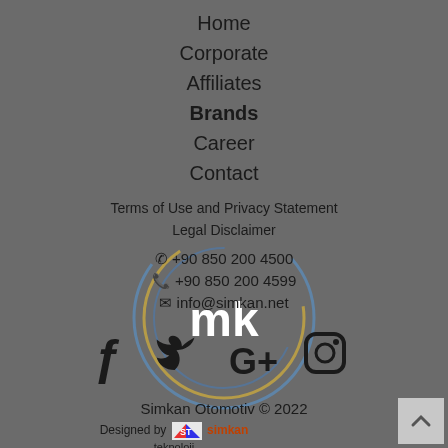Home
Corporate
Affiliates
Brands
Career
Contact
Terms of Use and Privacy Statement
Legal Disclaimer
+90 850 200 4500
+90 850 200 4599
info@simkan.net
[Figure (illustration): Social media icons: Facebook, Twitter, Google+, Instagram]
Simkan Otomotiv © 2022
Designed by simkan teknoloji
[Figure (logo): Simkan Teknoloji logo with ST monogram]